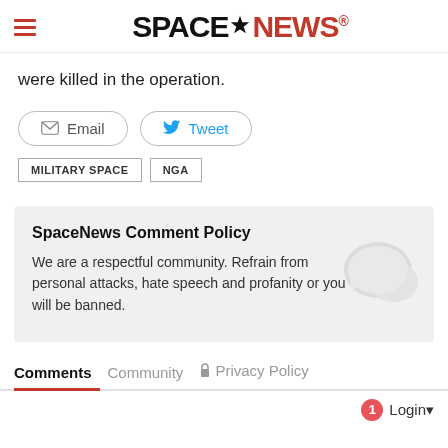SpaceNews
were killed in the operation.
Email   Tweet
MILITARY SPACE
NGA
SpaceNews Comment Policy
We are a respectful community. Refrain from personal attacks, hate speech and profanity or you will be banned.
Comments   Community   Privacy Policy
1  Login